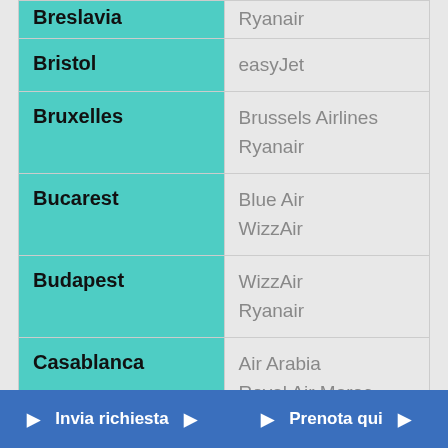| Destinazione | Compagnia |
| --- | --- |
| Breslavia | Ryanair |
| Bristol | easyJet |
| Bruxelles | Brussels Airlines
Ryanair |
| Bucarest | Blue Air
WizzAir |
| Budapest | WizzAir
Ryanair |
| Casablanca | Air Arabia
Royal Air Maroc |
| Colonia | Eurowings |
| Cork | Ryanair (dal 03/07/201 |
| Copenaghen | Ryanair |
Invia richiesta
Prenota qui